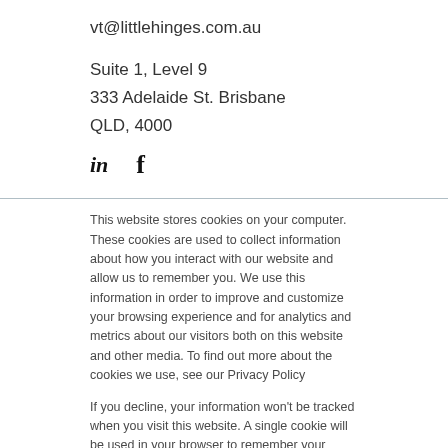vt@littlehinges.com.au
Suite 1, Level 9
333 Adelaide St. Brisbane
QLD, 4000
[Figure (other): LinkedIn and Facebook social media icons (in and f)]
This website stores cookies on your computer. These cookies are used to collect information about how you interact with our website and allow us to remember you. We use this information in order to improve and customize your browsing experience and for analytics and metrics about our visitors both on this website and other media. To find out more about the cookies we use, see our Privacy Policy
If you decline, your information won’t be tracked when you visit this website. A single cookie will be used in your browser to remember your preference not to be tracked.
Accept
Decline